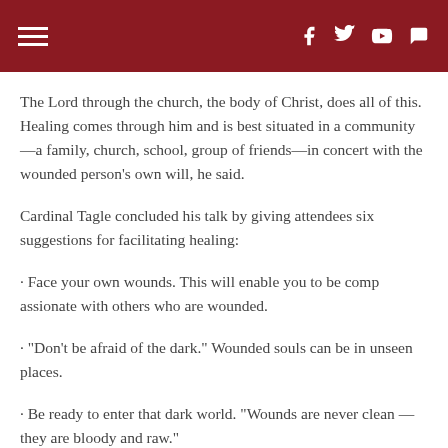Navigation header with hamburger menu and social icons (Facebook, Twitter, YouTube, speech bubble)
The Lord through the church, the body of Christ, does all of this. Healing comes through him and is best situated in a community—a family, church, school, group of friends—in concert with the wounded person's own will, he said.
Cardinal Tagle concluded his talk by giving attendees six suggestions for facilitating healing:
• Face your own wounds. This will enable you to be compassionate with others who are wounded.
• "Don't be afraid of the dark." Wounded souls can be in unseen places.
• Be ready to enter that dark world. "Wounds are never clean — they are bloody and raw."